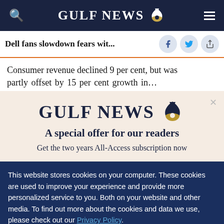GULF NEWS
Dell fans slowdown fears wit...
Consumer revenue declined 9 per cent, but was
[Figure (logo): Gulf News logo with eagle emblem on beige modal background]
A special offer for our readers
Get the two years All-Access subscription now
This website stores cookies on your computer. These cookies are used to improve your experience and provide more personalized service to you. Both on your website and other media. To find out more about the cookies and data we use, please check out our Privacy Policy.